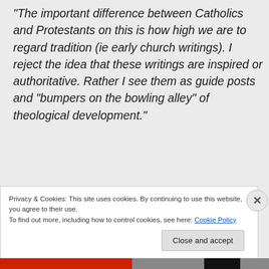“The important difference between Catholics and Protestants on this is how high we are to regard tradition (ie early church writings). I reject the idea that these writings are inspired or authoritative. Rather I see them as guide posts and “bumpers on the bowling alley” of theological development.”
That is an important distinction and I agree with you.
Privacy & Cookies: This site uses cookies. By continuing to use this website, you agree to their use.
To find out more, including how to control cookies, see here: Cookie Policy